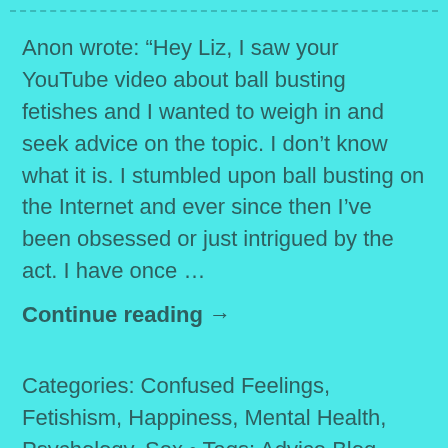Anon wrote: “Hey Liz, I saw your YouTube video about ball busting fetishes and I wanted to weigh in and seek advice on the topic. I don’t know what it is. I stumbled upon ball busting on the Internet and ever since then I’ve been obsessed or just intrigued by the act. I have once …
Continue reading →
Categories: Confused Feelings, Fetishism, Happiness, Mental Health, Psychology, Sex • Tags: Advice Blog, ballbusting fetish, confidence, confusing